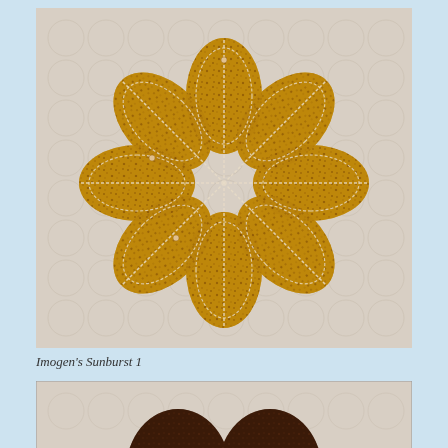[Figure (photo): A golden/mustard yellow floral appliqué quilting piece shaped like a sunburst or flower with 8 petals, made from a small dark floral print fabric, placed on a light cream/white background fabric with a subtle hexagon/circle pattern. White stitching lines radiate from the center of the flower across each petal.]
Imogen's Sunburst 1
[Figure (photo): Partial view of another quilting piece on a similar cream background, showing what appears to be two dark brown floral fabric petal shapes at the bottom of the frame.]